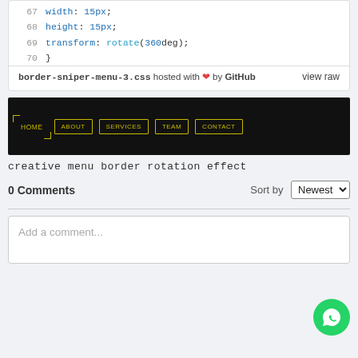[Figure (screenshot): Code snippet showing CSS lines 67-70: width: 15px; height: 15px; transform: rotate(360deg); closing brace]
border-sniper-menu-3.css hosted with ❤ by GitHub   view raw
[Figure (screenshot): Dark navigation menu demo with HOME (corner brackets), ABOUT, SERVICES, TEAM, CONTACT buttons in yellow-green border style on black background]
creative menu border rotation effect
0 Comments
Sort by Newest
Add a comment...